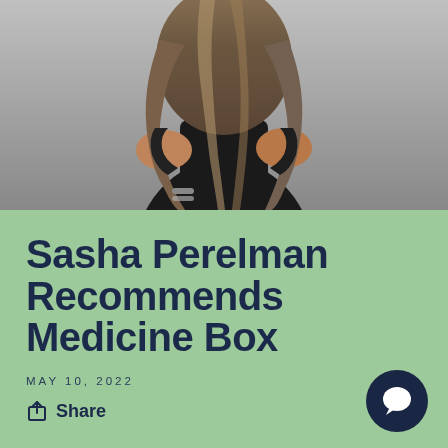[Figure (photo): Back view of a woman with long wavy blonde/brown highlighted hair wearing a black short-sleeve top, against a gray background. She has a bracelet on her wrist.]
Sasha Perelman Recommends Medicine Box
MAY 10, 2022
Share